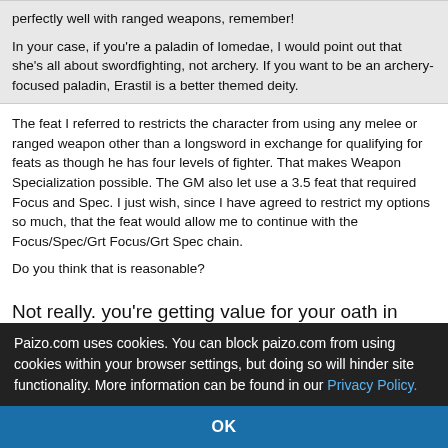perfectly well with ranged weapons, remember!

In your case, if you're a paladin of Iomedae, I would point out that she's all about swordfighting, not archery. If you want to be an archery-focused paladin, Erastil is a better themed deity.
The feat I referred to restricts the character from using any melee or ranged weapon other than a longsword in exchange for qualifying for feats as though he has four levels of fighter. That makes Weapon Specialization possible. The GM also let use a 3.5 feat that required Focus and Spec. I just wish, since I have agreed to restrict my options so much, that the feat would allow me to continue with the Focus/Spec/Grt Focus/Grt Spec chain.

Do you think that is reasonable?
Not really. you're getting value for your oath in whatever four levels of fighter will qualify you for. The feat is really intended to give mileage to Iomedae's clerics, who would get the most bang for the buck on
Paizo.com uses cookies. You can block paizo.com from using cookies within your browser settings, but doing so will hinder site functionality. More information can be found in our Privacy Policy.
OK